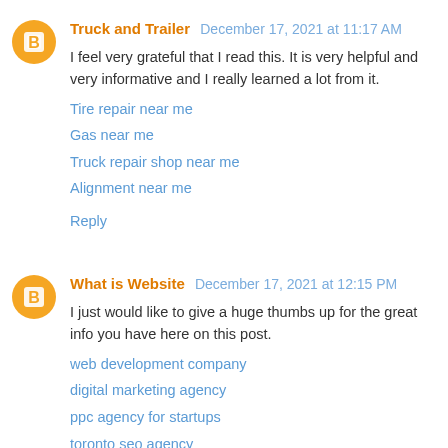Truck and Trailer  December 17, 2021 at 11:17 AM
I feel very grateful that I read this. It is very helpful and very informative and I really learned a lot from it.
Tire repair near me
Gas near me
Truck repair shop near me
Alignment near me
Reply
What is Website  December 17, 2021 at 12:15 PM
I just would like to give a huge thumbs up for the great info you have here on this post.
web development company
digital marketing agency
ppc agency for startups
toronto seo agency
Reply